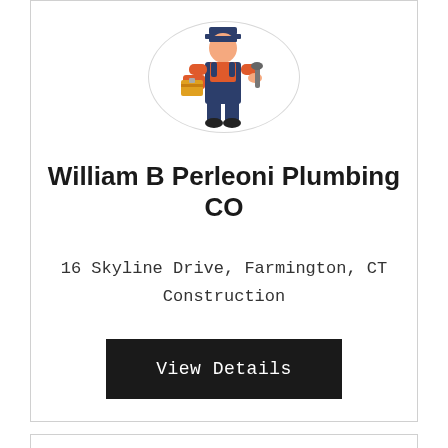[Figure (illustration): Plumber worker icon illustration — man in overalls holding toolbox and wrench, inside a circular border]
William B Perleoni Plumbing CO
16 Skyline Drive, Farmington, CT
Construction
View Details
[Figure (illustration): Plumber worker icon illustration — man in overalls holding toolbox and wrench, inside a circular border (second card, partially visible)]
[Figure (illustration): Teal circular phone/call button icon in the bottom right corner of the second card]